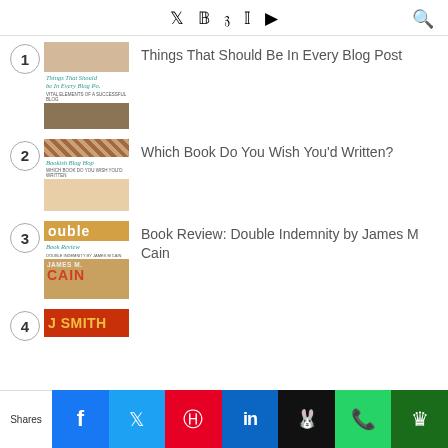Twitter, Facebook, Pinterest, Instagram, YouTube, Search
Things That Should Be In Every Blog Post
Which Book Do You Wish You'd Written?
Book Review: Double Indemnity by James M Cain
4 (partial)
Shares — Facebook, Twitter, Pinterest, LinkedIn, Bookmark, WhatsApp, Crown